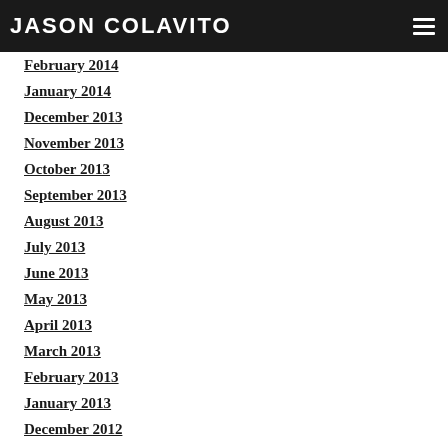JASON COLAVITO
April 2014
February 2014
January 2014
December 2013
November 2013
October 2013
September 2013
August 2013
July 2013
June 2013
May 2013
April 2013
March 2013
February 2013
January 2013
December 2012
November 2012
October 2012